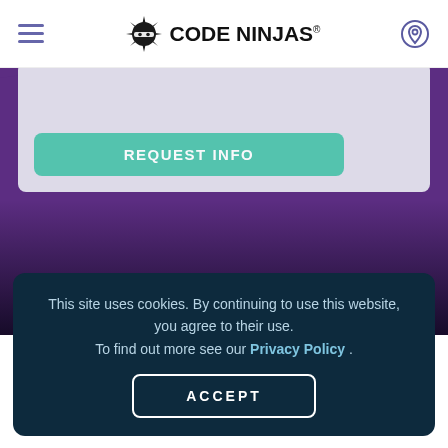Code Ninjas (logo and navigation header)
[Figure (screenshot): Code Ninjas website header with hamburger menu, Code Ninjas logo with ninja icon, and location pin icon]
[Figure (screenshot): Purple background section with a light-colored card containing a teal 'REQUEST INFO' button partially visible at top]
This site uses cookies. By continuing to use this website, you agree to their use. To find out more see our Privacy Policy .
ACCEPT